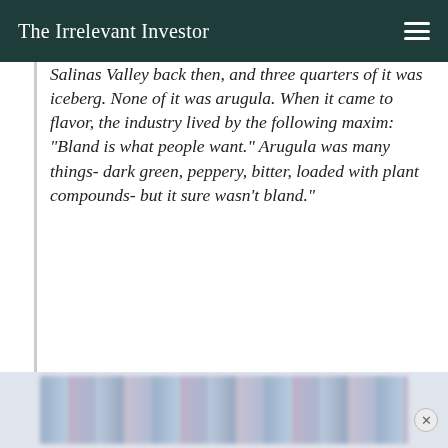The Irrelevant Investor
Salinas Valley back then, and three quarters of it was iceberg. None of it was arugula. When it came to flavor, the industry lived by the following maxim: “Bland is what people want.” Arugula was many things- dark green, peppery, bitter, loaded with plant compounds- but it sure wasn’t bland.”
Amid all this resistance, a few companies took the imprudent gamble of including leaves of arugula in their salad mixes. It wasn’t even the hard stuff- the “wild” arugula they eat over
[Figure (photo): Blurred advertisement banner at the bottom of the page]